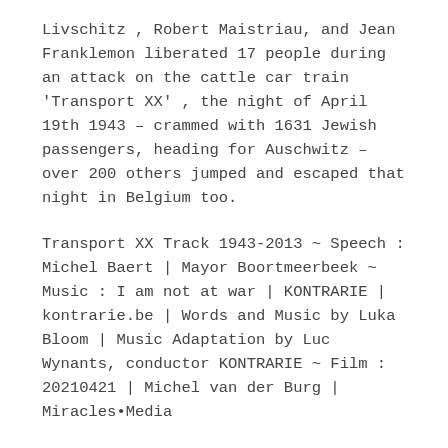Livschitz , Robert Maistriau, and Jean Franklemon liberated 17 people during an attack on the cattle car train 'Transport XX' , the night of April 19th 1943 – crammed with 1631 Jewish passengers, heading for Auschwitz – over 200 others jumped and escaped that night in Belgium too.
Transport XX Track 1943-2013 ~ Speech : Michel Baert | Mayor Boortmeerbeek ~ Music : I am not at war | KONTRARIE | kontrarie.be | Words and Music by Luka Bloom | Music Adaptation by Luc Wynants, conductor KONTRARIE ~ Film : 20210421 | Michel van der Burg | Miracles•Media
TAGS #TransportXX #resistance #deportation #1Memo #MiraclesMedia #michelvanderburg...